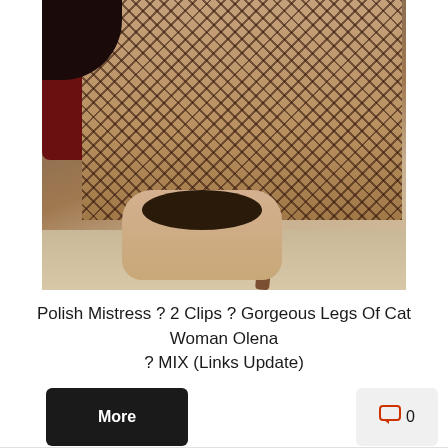[Figure (photo): Photo showing a person lying on the floor with legs raised wearing fishnet stockings, photographed from below/inverted angle in an indoor setting with a dark red chair and wooden table visible]
Polish Mistress ? 2 Clips ? Gorgeous Legs Of Cat Woman Olena ? MIX (Links Update)
More
0